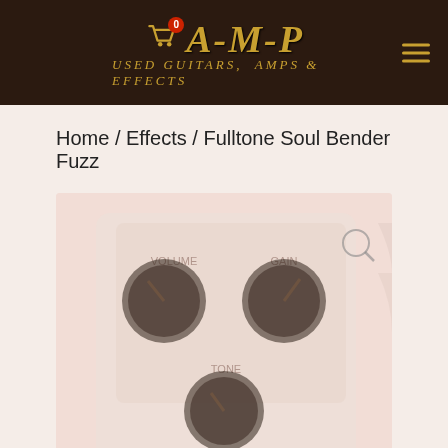AMP - Used Guitars, Amps & Effects
Home / Effects / Fulltone Soul Bender Fuzz
[Figure (photo): Close-up photo of a Fulltone Soul Bender Fuzz guitar effects pedal showing knobs labeled Volume, Tone, and Gain on a light beige/cream colored pedal face, faded/washed out appearance]